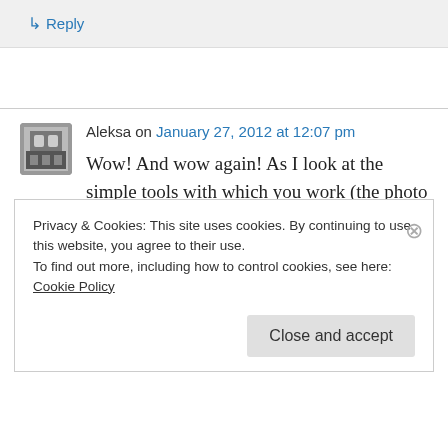↳ Reply
Aleksa on January 27, 2012 at 12:07 pm
Wow! And wow again! As I look at the simple tools with which you work (the photo with the fork pushing the yarn down particularly struck
Privacy & Cookies: This site uses cookies. By continuing to use this website, you agree to their use.
To find out more, including how to control cookies, see here: Cookie Policy
Close and accept